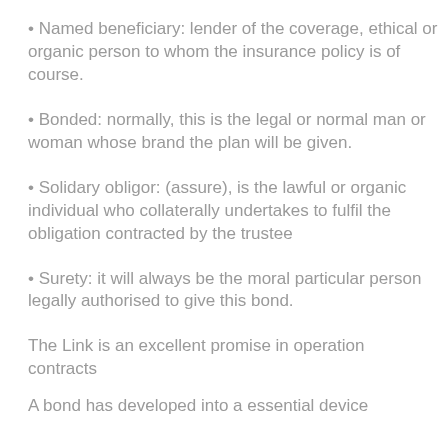• Named beneficiary: lender of the coverage, ethical or organic person to whom the insurance policy is of course.
• Bonded: normally, this is the legal or normal man or woman whose brand the plan will be given.
• Solidary obligor: (assure), is the lawful or organic individual who collaterally undertakes to fulfil the obligation contracted by the trustee
• Surety: it will always be the moral particular person legally authorised to give this bond.
The Link is an excellent promise in operation contracts
A bond has developed into a essential device